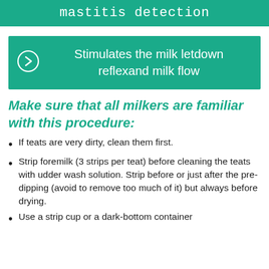mastitis detection
Stimulates the milk letdown reflexand milk flow
Make sure that all milkers are familiar with this procedure:
If teats are very dirty, clean them first.
Strip foremilk (3 strips per teat) before cleaning the teats with udder wash solution. Strip before or just after the pre-dipping (avoid to remove too much of it) but always before drying.
Use a strip cup or a dark-bottom container